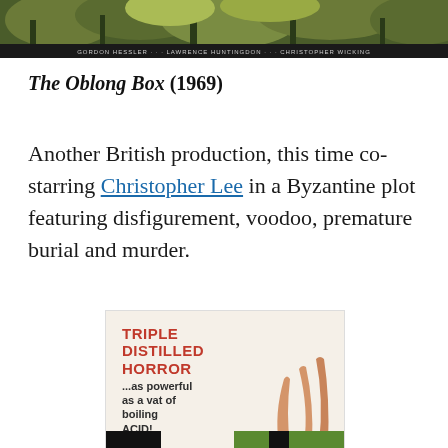[Figure (photo): Top portion of a movie poster for The Oblong Box showing a green and dark illustrated jungle/forest scene with credits at the bottom reading GORDON HESSLER, LAWRENCE HUNTINGDON, CHRISTOPHER WICKING]
The Oblong Box (1969)
Another British production, this time co-starring Christopher Lee in a Byzantine plot featuring disfigurement, voodoo, premature burial and murder.
[Figure (photo): Movie poster for The Oblong Box showing bold red text reading TRIPLE DISTILLED HORROR ...as powerful as a vat of boiling ACID! with illustrated arms raised from the ground and a green background at bottom]